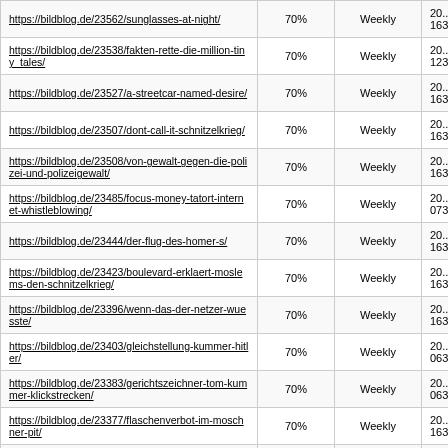| URL | Priority | Change Frequency | Last Modified |
| --- | --- | --- | --- |
| https://bildblog.de/23562/sunglasses-at-night/ | 70% | Weekly | 20... 163... |
| https://bildblog.de/23538/fakten-rette-die-million-tiny_tales/ | 70% | Weekly | 20... 123... |
| https://bildblog.de/23527/a-streetcar-named-desire/ | 70% | Weekly | 20... 163... |
| https://bildblog.de/23507/dont-call-it-schnitzelkrieg/ | 70% | Weekly | 20... 163... |
| https://bildblog.de/23508/von-gewalt-gegen-die-polizei-und-polizeigewalt/ | 70% | Weekly | 20... 163... |
| https://bildblog.de/23485/focus-money-tatort-internet-whistleblowing/ | 70% | Weekly | 20... 073... |
| https://bildblog.de/23444/der-flug-des-homer-s/ | 70% | Weekly | 20... 163... |
| https://bildblog.de/23423/boulevard-erklaert-moslems-den-schnitzelkrieg/ | 70% | Weekly | 20... 163... |
| https://bildblog.de/23396/wenn-das-der-netzer-wuesste/ | 70% | Weekly | 20... 163... |
| https://bildblog.de/23403/gleichstellung-kummer-hitler/ | 70% | Weekly | 20... 063... |
| https://bildblog.de/23383/gerichtszeichner-tom-kummer-klickstrecken/ | 70% | Weekly | 20... 063... |
| https://bildblog.de/23377/flaschenverbot-im-moschner-pit/ | 70% | Weekly | 20... 163... |
| https://bildblog.de/23365/... | 70% | Weekly | ... |